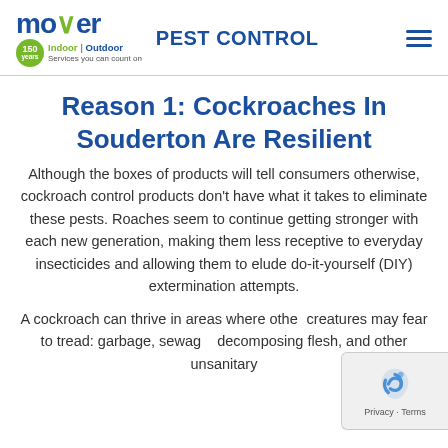MOYER PEST CONTROL — navigation header with logo
Reason 1: Cockroaches In Souderton Are Resilient
Although the boxes of products will tell consumers otherwise, cockroach control products don't have what it takes to eliminate these pests. Roaches seem to continue getting stronger with each new generation, making them less receptive to everyday insecticides and allowing them to elude do-it-yourself (DIY) extermination attempts.
A cockroach can thrive in areas where other creatures may fear to tread: garbage, sewage, decomposing flesh, and other unsanitary